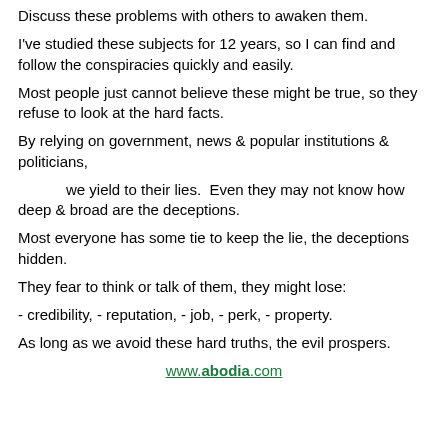Discuss these problems with others to awaken them.
I've studied these subjects for 12 years, so I can find and follow the conspiracies quickly and easily.
Most people just cannot believe these might be true, so they refuse to look at the hard facts.
By relying on government, news & popular institutions & politicians,
we yield to their lies.  Even they may not know how deep & broad are the deceptions.
Most everyone has some tie to keep the lie, the deceptions hidden.
They fear to think or talk of them, they might lose:
- credibility,  - reputation,  - job,  - perk,  - property.
As long as we avoid these hard truths, the evil prospers.
www.abodia.com